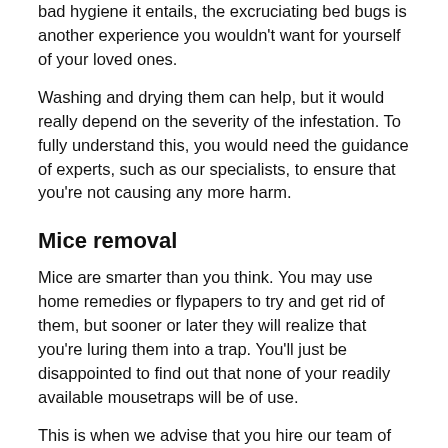bad hygiene it entails, the excruciating bed bugs is another experience you wouldn't want for yourself of your loved ones.
Washing and drying them can help, but it would really depend on the severity of the infestation. To fully understand this, you would need the guidance of experts, such as our specialists, to ensure that you're not causing any more harm.
Mice removal
Mice are smarter than you think. You may use home remedies or flypapers to try and get rid of them, but sooner or later they will realize that you're luring them into a trap. You'll just be disappointed to find out that none of your readily available mousetraps will be of use.
This is when we advise that you hire our team of authorized staff to have your problem resolved for you.
Cockroach eradication
Moisture is one factor to consider when you're identifying why your home or building may be infested with cockroaches.